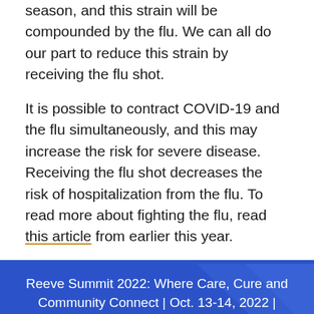season, and this strain will be compounded by the flu. We can all do our part to reduce this strain by receiving the flu shot.
It is possible to contract COVID-19 and the flu simultaneously, and this may increase the risk for severe disease. Receiving the flu shot decreases the risk of hospitalization from the flu. To read more about fighting the flu, read this article from earlier this year.
Reeve Summit 2022: Where Care, Cure and Community Connect | Oct. 13-14, 2022 | Washington, D.C.
Register now!